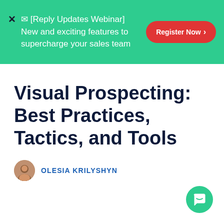✉ [Reply Updates Webinar] New and exciting features to supercharge your sales team
Visual Prospecting: Best Practices, Tactics, and Tools
OLESIA KRILYSHYN